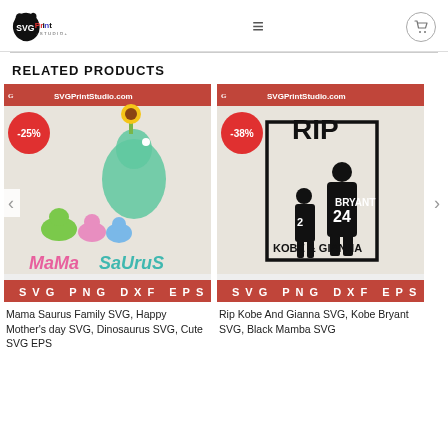SVG Print Studio
RELATED PRODUCTS
[Figure (screenshot): Product image: Mama Saurus Family SVG with -25% discount badge. Shows cartoon dinosaurs and text 'Mama Saurus'. Footer bar: SVG PNG DXF EPS. Header bar: SVGPrintStudio.com]
Mama Saurus Family SVG, Happy Mother's day SVG, Dinosaurus SVG, Cute SVG EPS
[Figure (screenshot): Product image: Rip Kobe And Gianna SVG with -38% discount badge. Shows silhouettes of Kobe Bryant (#24) and Gianna (#2) with text 'RIP' and 'KOBE & GIANNA'. Footer bar: SVG PNG DXF EPS. Header bar: SVGPrintStudio.com]
Rip Kobe And Gianna SVG, Kobe Bryant SVG, Black Mamba SVG